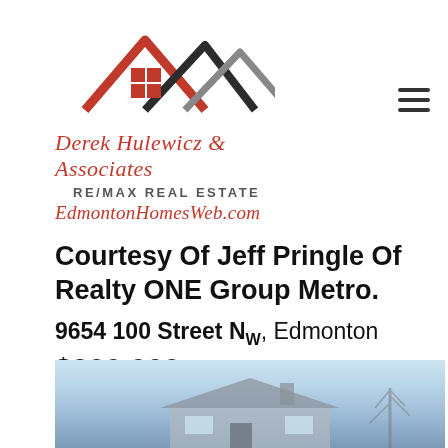[Figure (logo): Derek Hulewicz & Associates RE/MAX Real Estate logo with stylized house rooflines in red and dark gray]
Derek Hulewicz & Associates
RE/MAX REAL ESTATE
EdmontonHomesWeb.com
[Figure (infographic): Hamburger menu icon (three horizontal lines)]
Courtesy Of Jeff Pringle Of Realty ONE Group Metro.
9654 100 Street NW, Edmonton
$900,000
[Figure (photo): Exterior photo of a house with bare winter trees, light sky background]